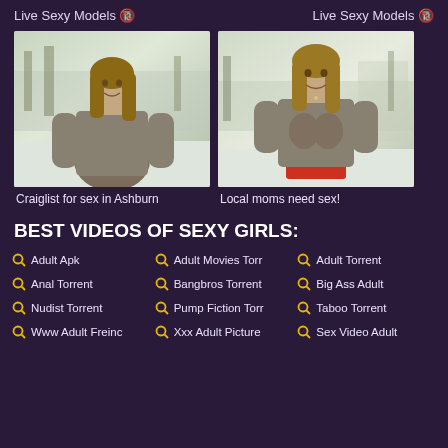Live Sexy Models 🔞
Live Sexy Models 🔞
[Figure (photo): Young woman in grey long-sleeve top standing outdoors in winter setting]
[Figure (photo): Young woman in grey long-sleeve top standing outdoors in winter setting, closer crop]
Craiglist for sex in Ashburn
Local moms need sex!
BEST VIDEOS OF SEXY GIRLS:
Adult Apk
Adult Movies Torr
Adult Torrent
Anal Torrent
Bangbros Torrent
Big Ass Adult
Nudist Torrent
Pump Fiction Torr
Taboo Torrent
Www Adult Freinc
Xxx Adult Picture
Sex Video Adult